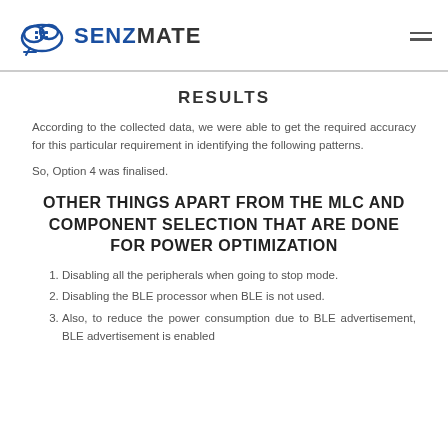SENZMATE
RESULTS
According to the collected data, we were able to get the required accuracy for this particular requirement in identifying the following patterns.
So, Option 4 was finalised.
OTHER THINGS APART FROM THE MLC AND COMPONENT SELECTION THAT ARE DONE FOR POWER OPTIMIZATION
Disabling all the peripherals when going to stop mode.
Disabling the BLE processor when BLE is not used.
Also, to reduce the power consumption due to BLE advertisement, BLE advertisement is enabled